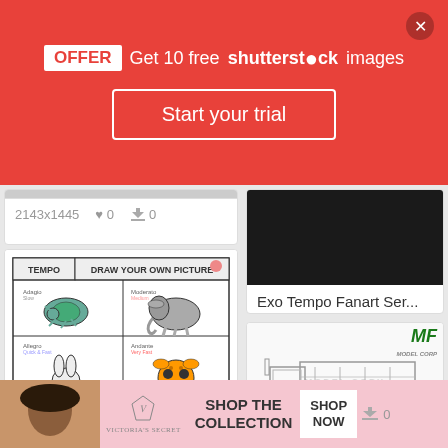[Figure (screenshot): Red promotional banner: OFFER Get 10 free shutterstock images with Start your trial button]
OFFER  Get 10 free shutterstock images
Start your trial
[Figure (screenshot): Partial top card showing 2143x1445 image with 0 likes and 0 downloads]
2143x1445   ♥ 0   ⬇ 0
[Figure (illustration): Fun Music Tempo Worksheet card with animals at different tempos: turtle, elephant, rabbit, cheetah]
Fun Music Tempo Work...
350x263   ♥ 0   ⬇ 0
[Figure (photo): Exo Tempo Fanart Series card, dimensions 576x1024]
Exo Tempo Fanart Ser...
576x1024   ♥ 0   ⬇ 0
[Figure (engineering-diagram): Force Trave truck engineering diagram with MF logo]
Force Trave CLOSE k...
[Figure (advertisement): Victoria's Secret advertisement: Shop the Collection, Shop Now]
SHOP THE COLLECTION   SHOP NOW